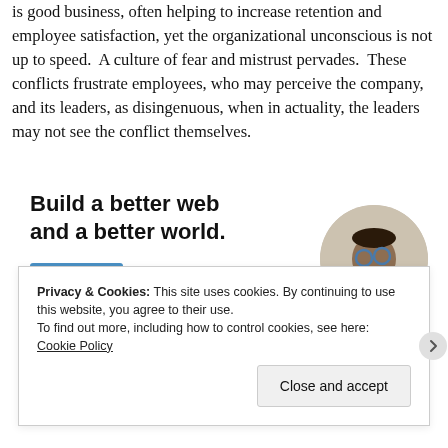is good business, often helping to increase retention and employee satisfaction, yet the organizational unconscious is not up to speed. A culture of fear and mistrust pervades. These conflicts frustrate employees, who may perceive the company, and its leaders, as disingenuous, when in actuality, the leaders may not see the conflict themselves.
[Figure (other): Advertisement banner: 'Build a better web and a better world.' with an Apply button and a circular photo of a man thinking]
Privacy & Cookies: This site uses cookies. By continuing to use this website, you agree to their use. To find out more, including how to control cookies, see here: Cookie Policy
Close and accept